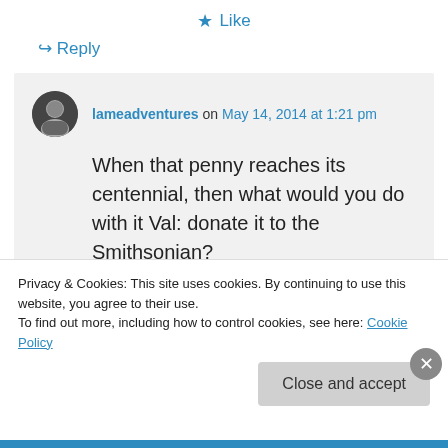★ Like
↪ Reply
lameadventures on May 14, 2014 at 1:21 pm
When that penny reaches its centennial, then what would you do with it Val: donate it to the Smithsonian?
I wholeheartedly agree, that Redbud is a gorgeous tree.
Privacy & Cookies: This site uses cookies. By continuing to use this website, you agree to their use.
To find out more, including how to control cookies, see here: Cookie Policy
Close and accept